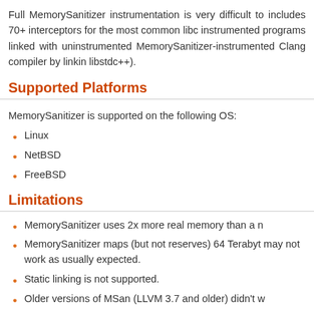Full MemorySanitizer instrumentation is very difficult to includes 70+ interceptors for the most common libc instrumented programs linked with uninstrumented MemorySanitizer-instrumented Clang compiler by linking libstdc++).
Supported Platforms
MemorySanitizer is supported on the following OS:
Linux
NetBSD
FreeBSD
Limitations
MemorySanitizer uses 2x more real memory than a n
MemorySanitizer maps (but not reserves) 64 Terabyt may not work as usually expected.
Static linking is not supported.
Older versions of MSan (LLVM 3.7 and older) didn't w